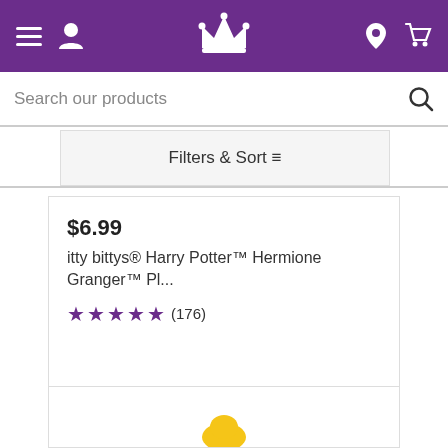Navigation bar with menu, profile, crown logo, location, and cart icons
Search our products
Filters & Sort
$6.99
itty bittys® Harry Potter™ Hermione Granger™ Pl...
★★★★★ (176)